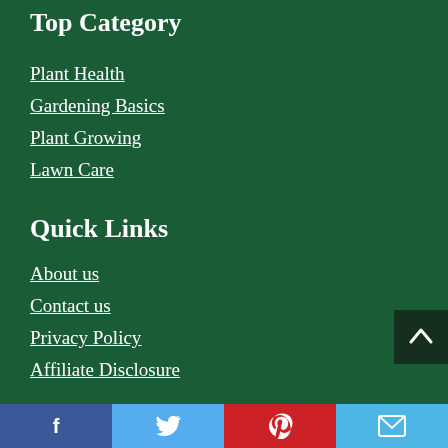Top Category
Plant Health
Gardening Basics
Plant Growing
Lawn Care
Quick Links
About us
Contact us
Privacy Policy
Affiliate Disclosure
[Figure (infographic): Social media share bar with Facebook, Twitter, Pinterest, and Email buttons at the bottom of the page]